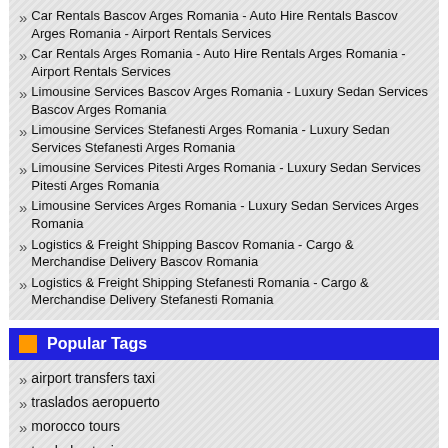Car Rentals Bascov Arges Romania - Auto Hire Rentals Bascov Arges Romania - Airport Rentals Services
Car Rentals Arges Romania - Auto Hire Rentals Arges Romania - Airport Rentals Services
Limousine Services Bascov Arges Romania - Luxury Sedan Services Bascov Arges Romania
Limousine Services Stefanesti Arges Romania - Luxury Sedan Services Stefanesti Arges Romania
Limousine Services Pitesti Arges Romania - Luxury Sedan Services Pitesti Arges Romania
Limousine Services Arges Romania - Luxury Sedan Services Arges Romania
Logistics & Freight Shipping Bascov Romania - Cargo & Merchandise Delivery Bascov Romania
Logistics & Freight Shipping Stefanesti Romania - Cargo & Merchandise Delivery Stefanesti Romania
Popular Tags
airport transfers taxi
traslados aeropuerto
morocco tours
traslados taxi
autobuses traslados
Tours Excursions Trips Cruises